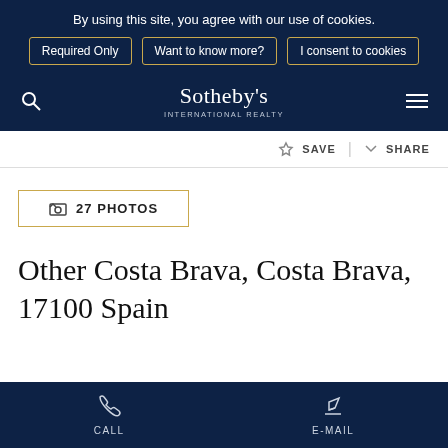By using this site, you agree with our use of cookies.
Required Only | Want to know more? | I consent to cookies
[Figure (screenshot): Sotheby's International Realty navigation bar with search icon, logo, and hamburger menu on dark navy background]
☆ SAVE  < SHARE
🖼 27 PHOTOS
Other Costa Brava, Costa Brava, 17100 Spain
[Figure (screenshot): Bottom navigation bar on dark navy with CALL (phone icon) and E-MAIL (pencil icon) buttons]